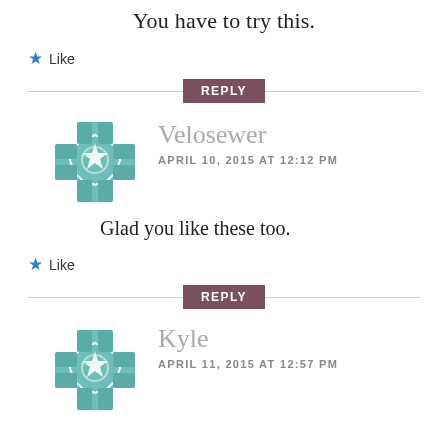You have to try this.
★ Like
REPLY
[Figure (logo): Teal decorative quilting/cross pattern avatar icon for user Velosewer]
Velosewer
APRIL 10, 2015 AT 12:12 PM
Glad you like these too.
★ Like
REPLY
[Figure (logo): Teal decorative quilting/cross pattern avatar icon for user Kyle]
Kyle
APRIL 11, 2015 AT 12:57 PM